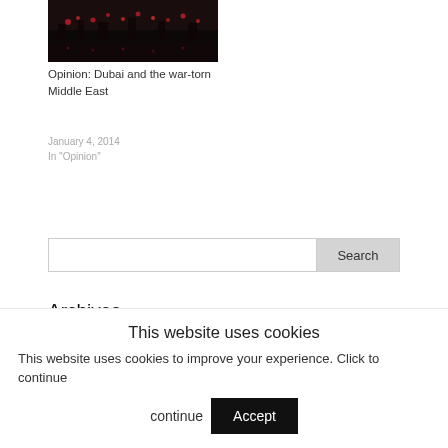[Figure (photo): Dark nighttime cityscape photo showing city lights reflected on water, appearing to be Dubai at night with red/pink light decorations]
Opinion: Dubai and the war-torn Middle East
January 4, 2014
In "Opinion"
Search
Archives
Select Month
This website uses cookies
This website uses cookies to improve your experience. Click to continue
Accept